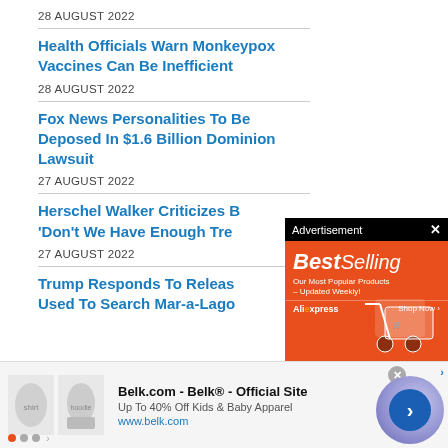28 AUGUST 2022
Health Officials Warn Monkeypox Vaccines Can Be Inefficient
28 AUGUST 2022
Fox News Personalities To Be Deposed In $1.6 Billion Dominion Lawsuit
27 AUGUST 2022
Herschel Walker Criticizes B 'Don't We Have Enough Tre
27 AUGUST 2022
Trump Responds To Releas Used To Search Mar-a-Lago
[Figure (screenshot): Advertisement overlay from AliExpress showing BestSelling shopping promotion with orange background and shopping cart graphic]
[Figure (screenshot): Bottom banner advertisement for Belk.com showing kids apparel with clothing images and navigation arrow]